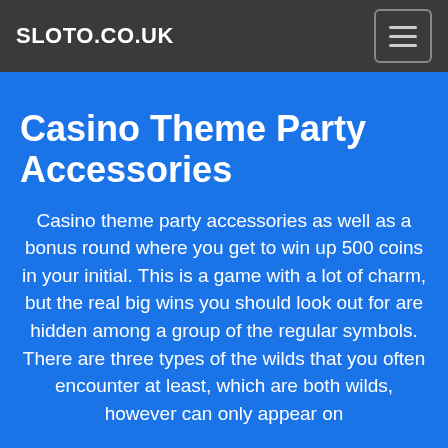SLOTO.CO.UK
Casino Theme Party Accessories
Casino theme party accessories as well as a bonus round where you get to win up 500 coins in your initial. This is a game with a lot of charm, but the real big wins you should look out for are hidden among a group of the regular symbols. There are three types of the wilds that you often encounter at least, which are both wilds, however can only appear on